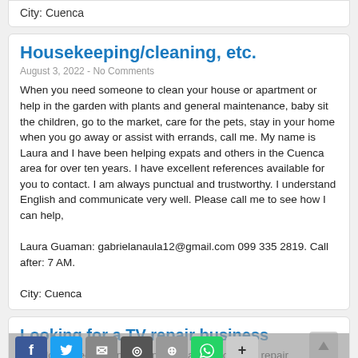City: Cuenca
Housekeeping/cleaning, etc.
August 3, 2022 - No Comments
When you need someone to clean your house or apartment or help in the garden with plants and general maintenance, baby sit the children, go to the market, care for the pets, stay in your home when you go away or assist with errands, call me. My name is Laura and I have been helping expats and others in the Cuenca area for over ten years. I have excellent references available for you to contact. I am always punctual and trustworthy. I understand English and communicate very well. Please call me to see how I can help,

Laura Guaman: gabrielanaula12@gmail.com 099 335 2819. Call after: 7 AM.

City: Cuenca
Looking for a TV repair business
I would appreciate any recommendations for a TV repair